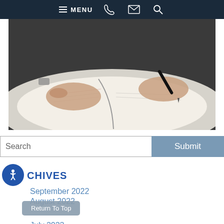MENU
[Figure (photo): Close-up of a person's hands writing in an open book/document with a pen]
Search
Submit
ARCHIVES
September 2022
August 2022
July 2022
June 2022
May 2022
Return To Top